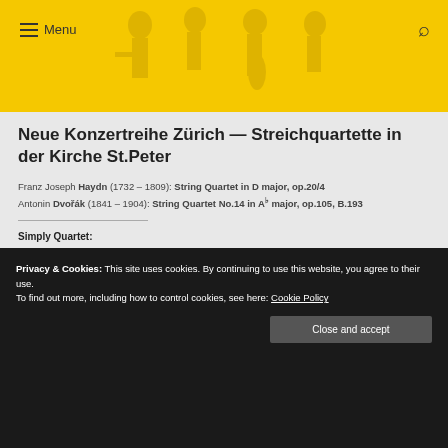Menu
Neue Konzertreihe Zürich — Streichquartette in der Kirche St.Peter
Franz Joseph Haydn (1732 – 1809): String Quartet in D major, op.20/4
Antonin Dvořák (1841 – 1904): String Quartet No.14 in A♭ major, op.105, B.193
Simply Quartet:
Danfeng Shen, violin
Antonia Rankersberger, violin
Xiang Lyu, viola
Ivan Valentin Hollup Roald, cello
→ Event Website
Privacy & Cookies: This site uses cookies. By continuing to use this website, you agree to their use.
To find out more, including how to control cookies, see here: Cookie Policy
Close and accept